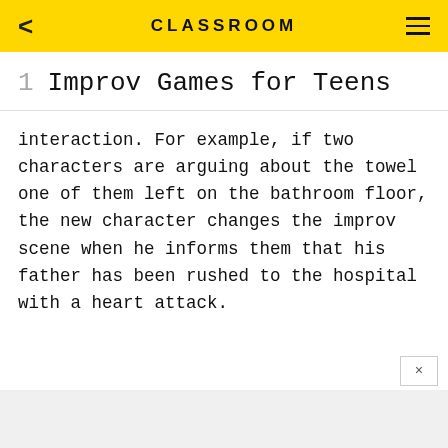CLASSROOM
1  Improv Games for Teens
interaction. For example, if two characters are arguing about the towel one of them left on the bathroom floor, the new character changes the improv scene when he informs them that his father has been rushed to the hospital with a heart attack.